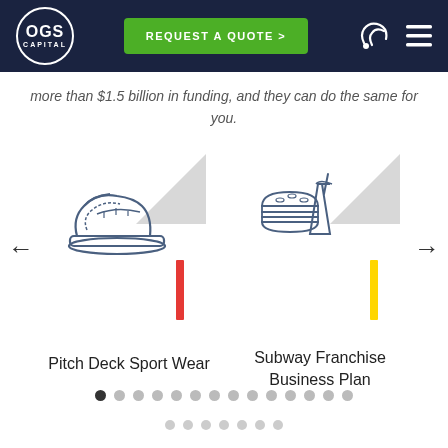OGS Capital — REQUEST A QUOTE navigation bar
more than $1.5 billion in funding, and they can do the same for you.
[Figure (illustration): Carousel with two items: 'Pitch Deck Sport Wear' (sneaker icon, red bar, grey triangle) and 'Subway Franchise Business Plan' (burger/drink icon, yellow bar, grey triangle), with left/right navigation arrows]
Pitch Deck Sport Wear
Subway Franchise Business Plan